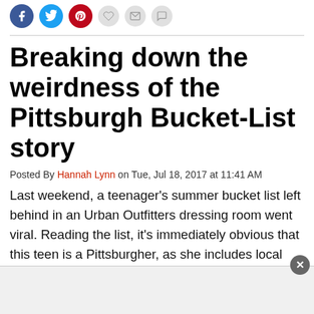Social share icons: Facebook, Twitter, Pinterest, Heart, Mail, Comment
Breaking down the weirdness of the Pittsburgh Bucket-List story
Posted By Hannah Lynn on Tue, Jul 18, 2017 at 11:41 AM
Last weekend, a teenager's summer bucket list left behind in an Urban Outfitters dressing room went viral. Reading the list, it's immediately obvious that this teen is a Pittsburgher, as she includes local activities